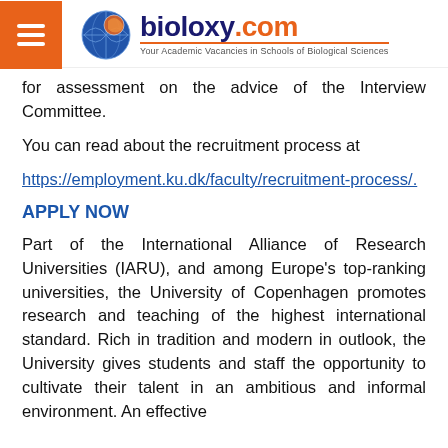bioloxy.com — Your Academic Vacancies in Schools of Biological Sciences
for assessment on the advice of the Interview Committee.
You can read about the recruitment process at
https://employment.ku.dk/faculty/recruitment-process/.
APPLY NOW
Part of the International Alliance of Research Universities (IARU), and among Europe's top-ranking universities, the University of Copenhagen promotes research and teaching of the highest international standard. Rich in tradition and modern in outlook, the University gives students and staff the opportunity to cultivate their talent in an ambitious and informal environment. An effective